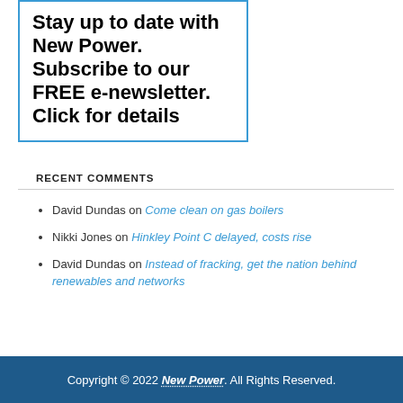Stay up to date with New Power. Subscribe to our FREE e-newsletter. Click for details
RECENT COMMENTS
David Dundas on Come clean on gas boilers
Nikki Jones on Hinkley Point C delayed, costs rise
David Dundas on Instead of fracking, get the nation behind renewables and networks
Copyright © 2022 New Power. All Rights Reserved.